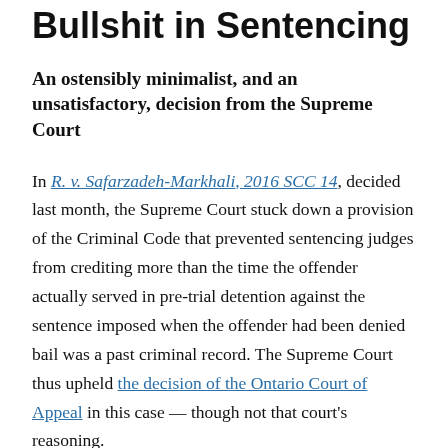Bullshit in Sentencing
An ostensibly minimalist, and an unsatisfactory, decision from the Supreme Court
In R. v. Safarzadeh-Markhali, 2016 SCC 14, decided last month, the Supreme Court stuck down a provision of the Criminal Code that prevented sentencing judges from crediting more than the time the offender actually served in pre-trial detention against the sentence imposed when the offender had been denied bail was a past criminal record. The Supreme Court thus upheld the decision of the Ontario Court of Appeal in this case — though not that court's reasoning.